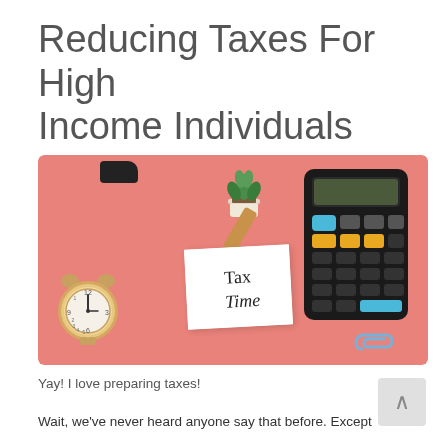Reducing Taxes For High Income Individuals
[Figure (photo): Photo of a pink desktop scene with an alarm clock on the left, a small potted succulent plant, an orange wooden clothespin clipping a white sticky note reading 'Tax Time' in handwritten script, a black calculator with blue and orange buttons, and a small blue paperclip in the lower right. Background is coral/salmon pink.]
Yay! I love preparing taxes!
Wait, we've never heard anyone say that before. Except